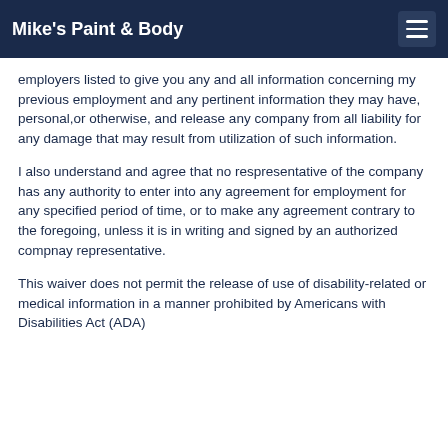Mike's Paint & Body
employers listed to give you any and all information concerning my previous employment and any pertinent information they may have, personal,or otherwise, and release any company from all liability for any damage that may result from utilization of such information.
I also understand and agree that no respresentative of the company has any authority to enter into any agreement for employment for any specified period of time, or to make any agreement contrary to the foregoing, unless it is in writing and signed by an authorized compnay representative.
This waiver does not permit the release of use of disability-related or medical information in a manner prohibited by Americans with Disabilities Act (ADA)